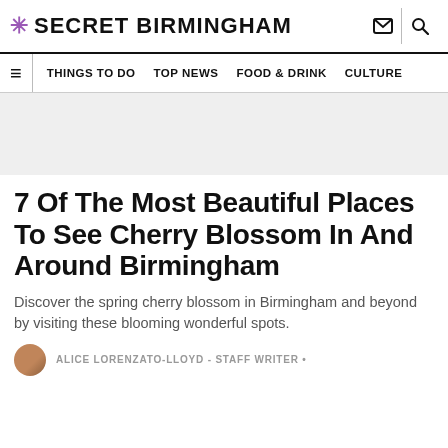* SECRET BIRMINGHAM
THINGS TO DO  TOP NEWS  FOOD & DRINK  CULTURE
[Figure (other): Gray advertisement placeholder banner]
7 Of The Most Beautiful Places To See Cherry Blossom In And Around Birmingham
Discover the spring cherry blossom in Birmingham and beyond by visiting these blooming wonderful spots.
ALICE LORENZATO-LLOYD - STAFF WRITER •